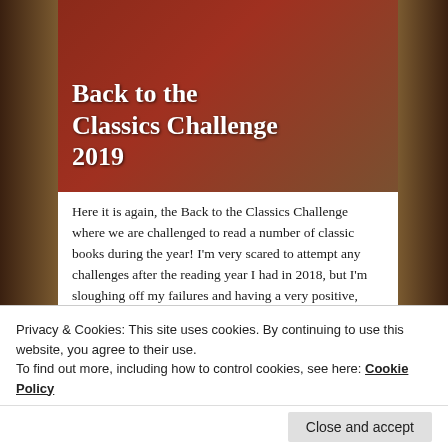[Figure (photo): Banner image for Back to the Classics Challenge 2019 with white bold text over old books background in red-brown tones]
Here it is again, the Back to the Classics Challenge where we are challenged to read a number of classic books during the year!  I'm very scared to attempt any challenges after the reading year I had in 2018, but I'm sloughing off my failures and having a very positive, sunny attitude towards my reading in 2019!  With that in mind, I'm going to join Karen at Books and Chocolate's Back to the Classics Challenge!  Here are the categories and possible book choices for them:
Privacy & Cookies: This site uses cookies. By continuing to use this website, you agree to their use.
To find out more, including how to control cookies, see here: Cookie Policy
Close and accept
3. Classic by a Female Author: The Age of